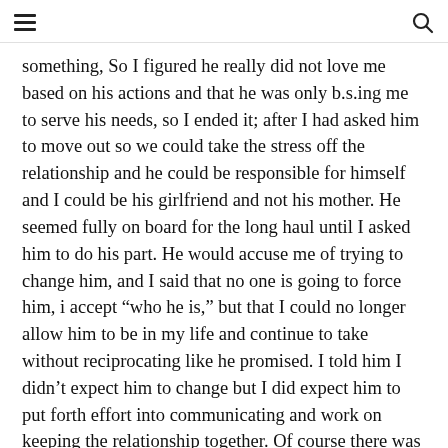[hamburger menu] [search icon]
something, So I figured he really did not love me based on his actions and that he was only b.s.ing me to serve his needs, so I ended it; after I had asked him to move out so we could take the stress off the relationship and he could be responsible for himself and I could be his girlfriend and not his mother. He seemed fully on board for the long haul until I asked him to do his part. He would accuse me of trying to change him, and I said that no one is going to force him, i accept “who he is,” but that I could no longer allow him to be in my life and continue to take without reciprocating like he promised. I told him I didn’t expect him to change but I did expect him to put forth effort into communicating and work on keeping the relationship together. Of course there was some bs about how I need to accept him as he is and basically it was his way of justifying his poor treatment of me (there was plenty of verbal abuse from his side so I twisted into a pretzel to keep the